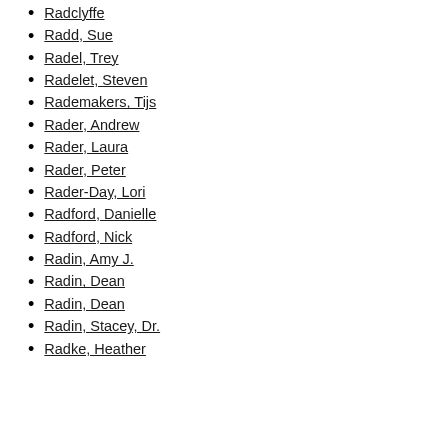Radclyffe
Radd, Sue
Radel, Trey
Radelet, Steven
Rademakers, Tijs
Rader, Andrew
Rader, Laura
Rader, Peter
Rader-Day, Lori
Radford, Danielle
Radford, Nick
Radin, Amy J.
Radin, Dean
Radin, Dean
Radin, Stacey, Dr.
Radke, Heather